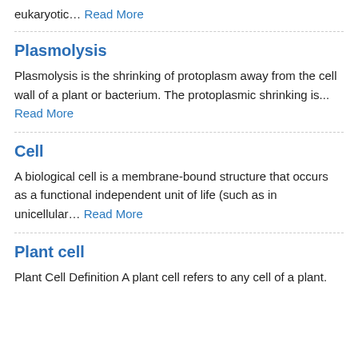eukaryotic… Read More
Plasmolysis
Plasmolysis is the shrinking of protoplasm away from the cell wall of a plant or bacterium. The protoplasmic shrinking is… Read More
Cell
A biological cell is a membrane-bound structure that occurs as a functional independent unit of life (such as in unicellular… Read More
Plant cell
Plant Cell Definition A plant cell refers to any cell of a plant.